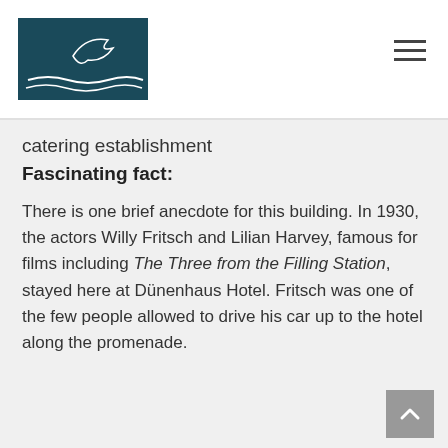[Figure (logo): Hotel logo: dark teal rectangle with white stylized bird/wave illustration]
catering establishment
Fascinating fact:
There is one brief anecdote for this building. In 1930, the actors Willy Fritsch and Lilian Harvey, famous for films including The Three from the Filling Station, stayed here at Dünenhaus Hotel. Fritsch was one of the few people allowed to drive his car up to the hotel along the promenade.